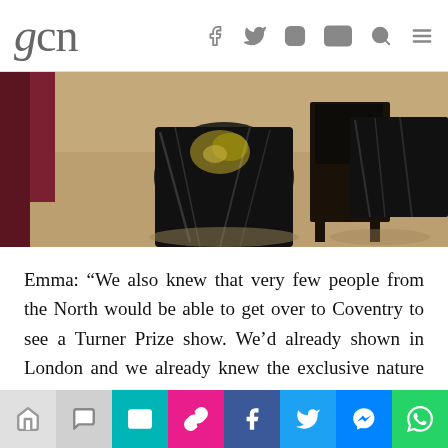gcn
[Figure (photo): Interior photo showing a decorative table with floral patterned cloth in a dimly lit room with chairs and carpet]
Emma: “We also knew that very few people from the North would be able to get over to Coventry to see a Turner Prize show. We’d already shown in London and we already knew the exclusive nature of having something in a particular place that means only certain people can physically access it. So part of the reason for having the Ball is the idea that we talked about at the start, of inclusivity, of
Share bar with icons: link, comment, email, link, facebook, twitter, messenger, whatsapp